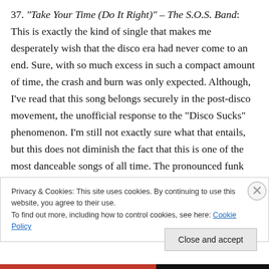37. "Take Your Time (Do It Right)" – The S.O.S. Band: This is exactly the kind of single that makes me desperately wish that the disco era had never come to an end. Sure, with so much excess in such a compact amount of time, the crash and burn was only expected. Although, I've read that this song belongs securely in the post-disco movement, the unofficial response to the "Disco Sucks" phenomenon. I'm still not exactly sure what that entails, but this does not diminish the fact that this is one of the most danceable songs of all time. The pronounced funk elements paired with the vibrant vocals of Mary Davis
Privacy & Cookies: This site uses cookies. By continuing to use this website, you agree to their use. To find out more, including how to control cookies, see here: Cookie Policy
Close and accept